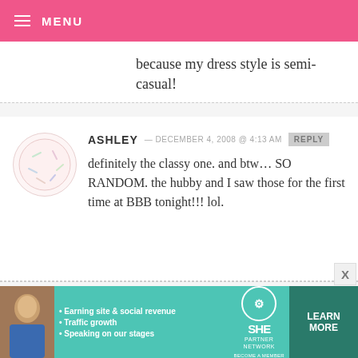MENU
because my dress style is semi-casual!
ASHLEY — DECEMBER 4, 2008 @ 4:13 AM REPLY
definitely the classy one. and btw… SO RANDOM. the hubby and I saw those for the first time at BBB tonight!!! lol.
STEPHANIE — DECEMBER 4, 2008 @ 4:13 AM REPLY
[Figure (infographic): SHE Partner Network ad banner with photo of woman, bullet points: Earning site & social revenue, Traffic growth, Speaking on our stages, SHE logo, LEARN MORE button, BECOME A MEMBER text]